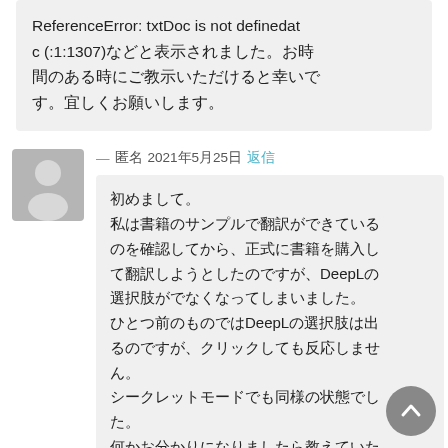ReferenceError: txtDoc is not definedatc (:1:1307)などと表示されました。お時間のある時にご教示いただけると幸いです。宜しくお願いします。
— 匿名 2021年5月25日 返信
[Figure (illustration): Generic user avatar silhouette in gray]
初めまして。私は書籍のサンプルで翻訳ができているのを確認してから、正式に書籍を購入して翻訳しようとしたのですが、DeepLの選択肢がでなくなってしまいました。ひとつ前のものではDeepLの選択肢は出るのですが、クリックしても反応しません。シークレットモードでも同様の状態でした。何かお分かりになりましたら教えていた